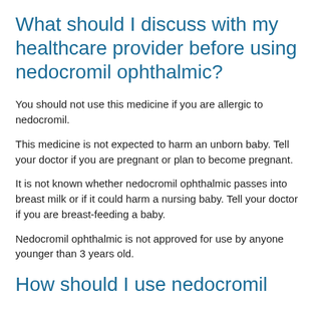What should I discuss with my healthcare provider before using nedocromil ophthalmic?
You should not use this medicine if you are allergic to nedocromil.
This medicine is not expected to harm an unborn baby. Tell your doctor if you are pregnant or plan to become pregnant.
It is not known whether nedocromil ophthalmic passes into breast milk or if it could harm a nursing baby. Tell your doctor if you are breast-feeding a baby.
Nedocromil ophthalmic is not approved for use by anyone younger than 3 years old.
How should I use nedocromil